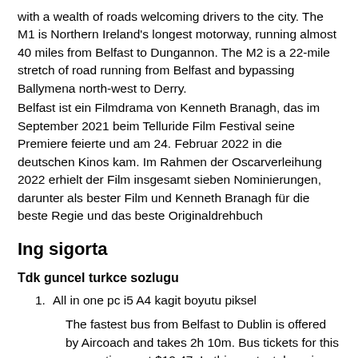with a wealth of roads welcoming drivers to the city. The M1 is Northern Ireland's longest motorway, running almost 40 miles from Belfast to Dungannon. The M2 is a 22-mile stretch of road running from Belfast and bypassing Ballymena north-west to Derry.
Belfast ist ein Filmdrama von Kenneth Branagh, das im September 2021 beim Telluride Film Festival seine Premiere feierte und am 24. Februar 2022 in die deutschen Kinos kam. Im Rahmen der Oscarverleihung 2022 erhielt der Film insgesamt sieben Nominierungen, darunter als bester Film und Kenneth Branagh für die beste Regie und das beste Originaldrehbuch
Ing sigorta
Tdk guncel turkce sozlugu
1. All in one pc i5 A4 kagit boyutu piksel
The fastest bus from Belfast to Dublin is offered by Aircoach and takes 2h 10m. Bus tickets for this connection cost $12.47. In this context, bear in mind that the journey can take longer due to traffic.
Living in Belfast, according to students. The Holylands are